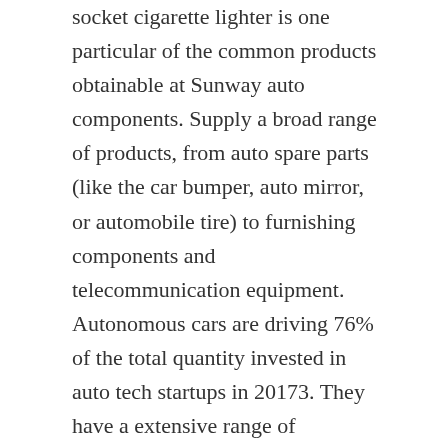socket cigarette lighter is one particular of the common products obtainable at Sunway auto components. Supply a broad range of products, from auto spare parts (like the car bumper, auto mirror, or automobile tire) to furnishing components and telecommunication equipment. Autonomous cars are driving 76% of the total quantity invested in auto tech startups in 20173. They have a extensive range of products: from the automobile bumper to the motorcycle casing to the cable jacket, they all have it. Despite the fact that they have a significantly lesser quantity of employees – 120 – they do have a vast factory location of over 12,000 square meters, and their annual production capacity is ten,000 MT. Also, the proximity of their place tends to make it practical for them to transport their deliveries on time. As a result, make confident to select a dependable retailer to get ideal top quality genuine